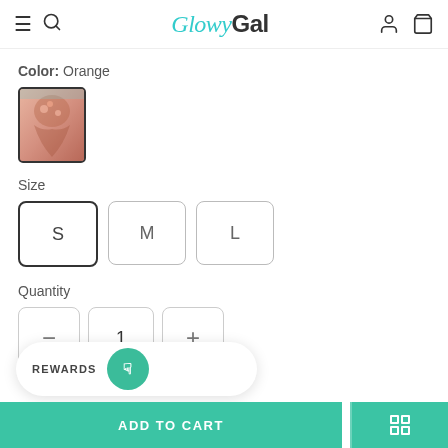GlowyGal
Color: Orange
[Figure (photo): Small thumbnail of an orange/coral floral bikini swimsuit worn by a person]
Size
S  M  L
Quantity
1
REWARDS
ADD TO CART